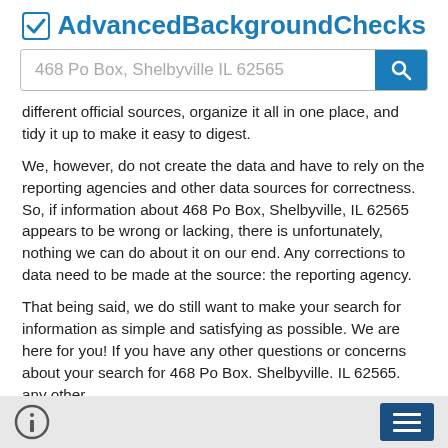AdvancedBackgroundChecks
468 Po Box, Shelbyville IL 62565
different official sources, organize it all in one place, and tidy it up to make it easy to digest.
We, however, do not create the data and have to rely on the reporting agencies and other data sources for correctness. So, if information about 468 Po Box, Shelbyville, IL 62565 appears to be wrong or lacking, there is unfortunately, nothing we can do about it on our end. Any corrections to data need to be made at the source: the reporting agency.
That being said, we do still want to make your search for information as simple and satisfying as possible. We are here for you! If you have any other questions or concerns about your search for 468 Po Box. Shelbyville. IL 62565. any other